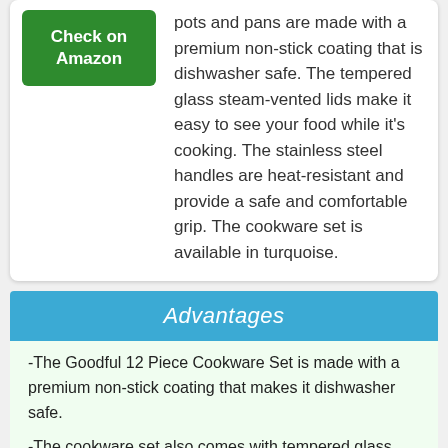pots and pans are made with a premium non-stick coating that is dishwasher safe. The tempered glass steam-vented lids make it easy to see your food while it's cooking. The stainless steel handles are heat-resistant and provide a safe and comfortable grip. The cookware set is available in turquoise.
[Figure (other): Green 'Check on Amazon' button]
Advantages
-The Goodful 12 Piece Cookware Set is made with a premium non-stick coating that makes it dishwasher safe.
-The cookware set also comes with tempered glass